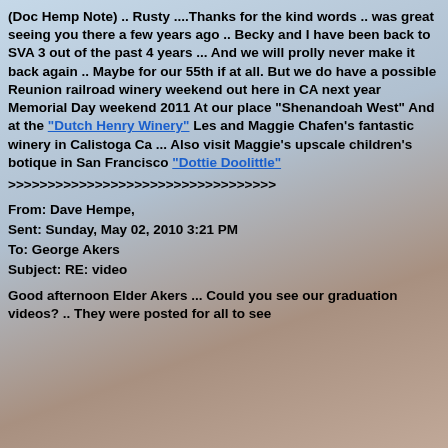(Doc Hemp Note) .. Rusty ....Thanks for the kind words .. was great seeing you there a few years ago .. Becky and I have been back to SVA 3 out of the past 4 years ... And we will prolly never make it back again .. Maybe for our 55th if at all. But we do have a possible Reunion railroad winery weekend out here in CA next year Memorial Day weekend 2011 At our place "Shenandoah West" And at the "Dutch Henry Winery" Les and Maggie Chafen's fantastic winery in Calistoga Ca ... Also visit Maggie's upscale children's botique in San Francisco "Dottie Doolittle"
>>>>>>>>>>>>>>>>>>>>>>>>>>>>>>>>
From: Dave Hempe,
Sent: Sunday, May 02, 2010 3:21 PM
To: George Akers
Subject: RE: video
Good afternoon Elder Akers ... Could you see our graduation videos? .. They were posted for all to see